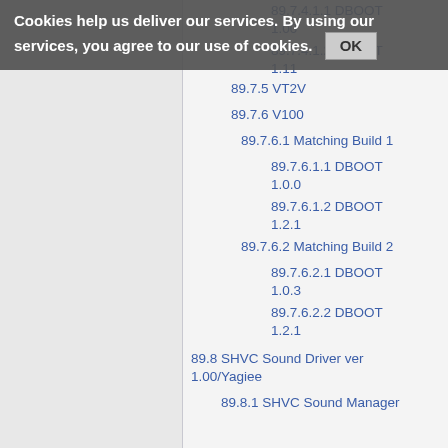Cookies help us deliver our services. By using our services, you agree to our use of cookies. OK
89.7.4.1.1 DBOOT 1.00
89.7.4.1.2 DBOOT 1.11
89.7.5 VT2V
89.7.6 V100
89.7.6.1 Matching Build 1
89.7.6.1.1 DBOOT 1.0.0
89.7.6.1.2 DBOOT 1.2.1
89.7.6.2 Matching Build 2
89.7.6.2.1 DBOOT 1.0.3
89.7.6.2.2 DBOOT 1.2.1
89.8 SHVC Sound Driver ver 1.00/Yagiee
89.8.1 SHVC Sound Manager